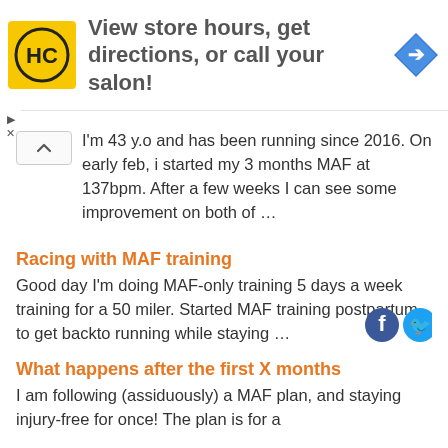[Figure (infographic): Advertisement banner with HC logo (yellow background, black HC letters in a circle), text 'View store hours, get directions, or call your salon!' and a blue diamond navigation icon on the right. Small play and close icons at bottom left.]
I'm 43 y.o and has been running since 2016. On early feb, i started my 3 months MAF at 137bpm. After a few weeks I can see some improvement on both of …
Racing with MAF training
Good day I'm doing MAF-only training 5 days a week training for a 50 miler. Started MAF training postpartum to get back to running while staying …
What happens after the first X months
I am following (assiduously) a MAF plan, and staying injury-free for once! The plan is for a